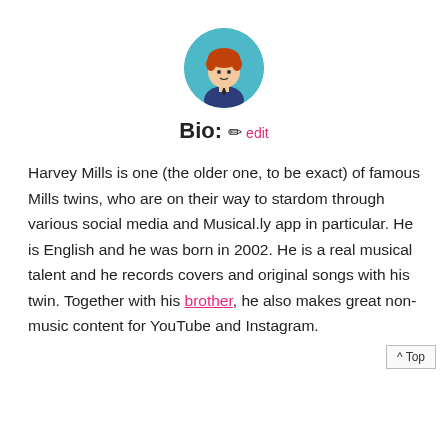[Figure (illustration): Circular avatar illustration of a person with red/orange hair wearing a suit, on a teal/cyan background]
Bio: ✏ edit
Harvey Mills is one (the older one, to be exact) of famous Mills twins, who are on their way to stardom through various social media and Musical.ly app in particular. He is English and he was born in 2002. He is a real musical talent and he records covers and original songs with his twin. Together with his brother, he also makes great non-music content for YouTube and Instagram.